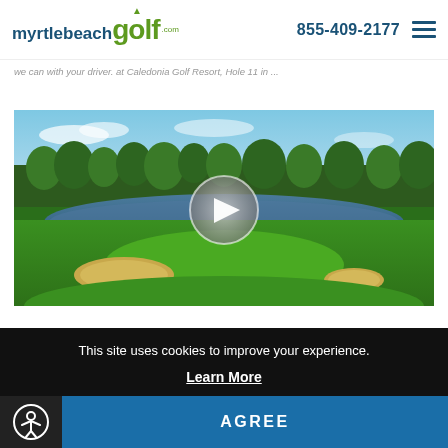myrtlebeachgolf.com | 855-409-2177
we can with your driver. at Caledonia Golf Resort, Hole 11 in ...
[Figure (photo): Aerial view of a golf course with green fairways, sand bunkers, a water hazard reflecting trees, and a play button overlay indicating a video player]
This site uses cookies to improve your experience.
Learn More
AGREE